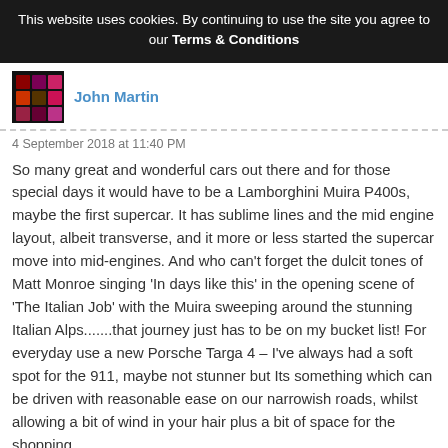This website uses cookies. By continuing to use the site you agree to our Terms & Conditions
[Figure (photo): User avatar thumbnail showing a dark image with colored dots]
John Martin
4 September 2018 at 11:40 PM
So many great and wonderful cars out there and for those special days it would have to be a Lamborghini Muira P400s, maybe the first supercar. It has sublime lines and the mid engine layout, albeit transverse, and it more or less started the supercar move into mid-engines. And who can't forget the dulcit tones of Matt Monroe singing 'In days like this' in the opening scene of 'The Italian Job' with the Muira sweeping around the stunning Italian Alps.......that journey just has to be on my bucket list! For everyday use a new Porsche Targa 4 – I've always had a soft spot for the 911, maybe not stunner but Its something which can be driven with reasonable ease on our narrowish roads, whilst allowing a bit of wind in your hair plus a bit of space for the shopping. There has to be a convertible somewhere and I know